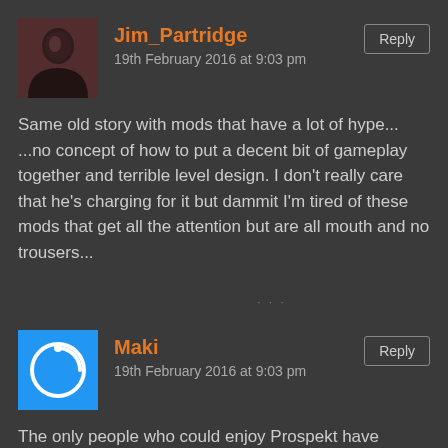Jim_Partridge
19th February 2016 at 9:03 pm
Same old story with mods that have a lot of hype...
...no concept of how to put a decent bit of gameplay together and terrible level design. I don't really care that he's charging for it but dammit I'm tired of these mods that get all the attention but are all mouth and no trousers...
Maki
19th February 2016 at 9:03 pm
The only people who could enjoy Prospekt have probably never played any other Half-